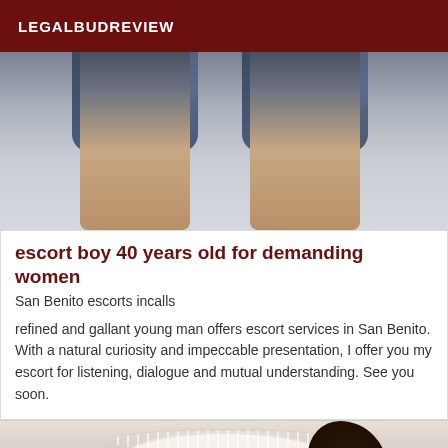LEGALBUDREVIEW
[Figure (photo): Lower body of a person wearing rolled-up denim shorts, showing bare legs from knees down against a light background]
escort boy 40 years old for demanding women
San Benito escorts incalls
refined and gallant young man offers escort services in San Benito. With a natural curiosity and impeccable presentation, I offer you my escort for listening, dialogue and mutual understanding. See you soon.
[Figure (photo): Upper body of a person wearing a white lace off-shoulder top, with curly dark hair visible on the right side]